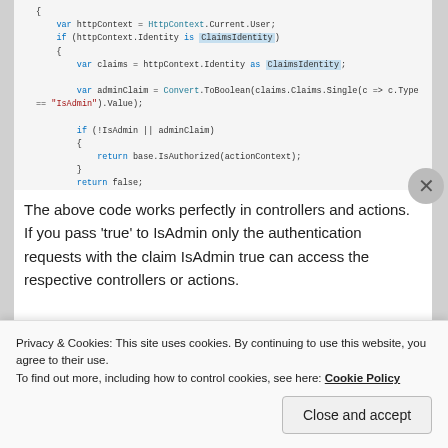[Figure (screenshot): Code snippet showing C# code with var httpContext, ClaimsIdentity checks, adminClaim, and return statements with syntax highlighting]
The above code works perfectly in controllers and actions. If you pass 'true' to IsAdmin only the authentication requests with the claim IsAdmin true can access the respective controllers or actions.
[ClaimsAuthorized(IsAdmin = true)]
Privacy & Cookies: This site uses cookies. By continuing to use this website, you agree to their use.
To find out more, including how to control cookies, see here: Cookie Policy
Close and accept